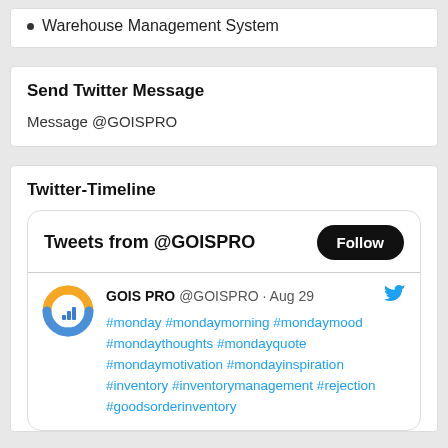Warehouse Management System
Send Twitter Message
Message @GOISPRO
Twitter-Timeline
Tweets from @GOISPRO
GOIS PRO @GOISPRO · Aug 29
#monday #mondaymorning #mondaymood #mondaythoughts #mondayquote #mondaymotivation #mondayinspiration #inventory #inventorymanagement #rejection #goodsorderinventory